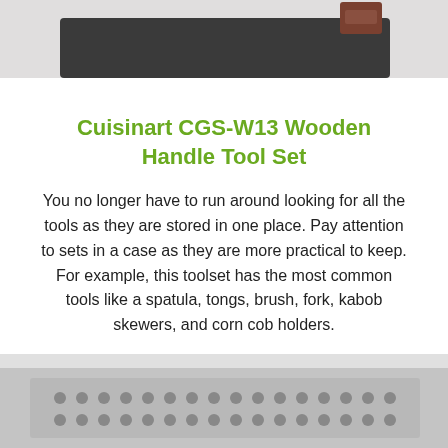[Figure (photo): Top portion of a tool case/set with dark gray case body and brown wooden handle visible at bottom of frame]
Cuisinart CGS-W13 Wooden Handle Tool Set
You no longer have to run around looking for all the tools as they are stored in one place. Pay attention to sets in a case as they are more practical to keep. For example, this toolset has the most common tools like a spatula, tongs, brush, fork, kabob skewers, and corn cob holders.
[Figure (photo): Bottom portion showing a metal grill basket or tray with perforated holes, gray metallic surface]